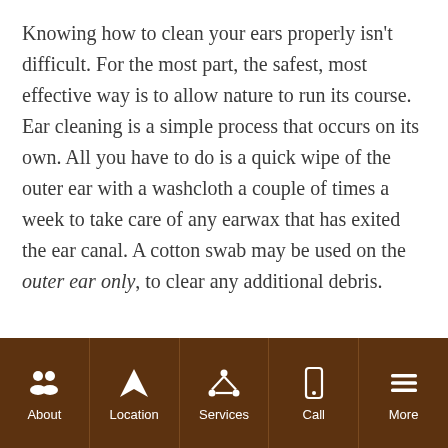Knowing how to clean your ears properly isn't difficult. For the most part, the safest, most effective way is to allow nature to run its course. Ear cleaning is a simple process that occurs on its own. All you have to do is a quick wipe of the outer ear with a washcloth a couple of times a week to take care of any earwax that has exited the ear canal. A cotton swab may be used on the outer ear only, to clear any additional debris.
About | Location | Services | Call | More